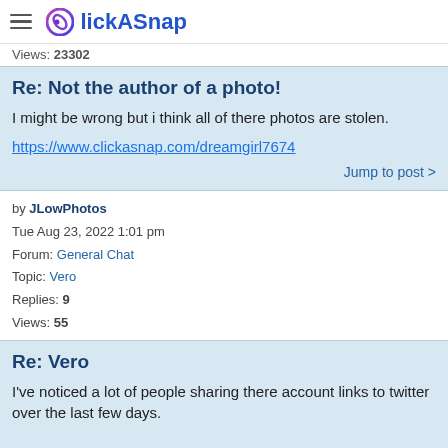ClickASnap
Views: 23302
Re: Not the author of a photo!
I might be wrong but i think all of there photos are stolen.
https://www.clickasnap.com/dreamgirl7674
Jump to post >
by JLowPhotos
Tue Aug 23, 2022 1:01 pm
Forum: General Chat
Topic: Vero
Replies: 9
Views: 55
Re: Vero
I've noticed a lot of people sharing there account links to twitter over the last few days.

Just one question is it still free to join?
Jump to post >